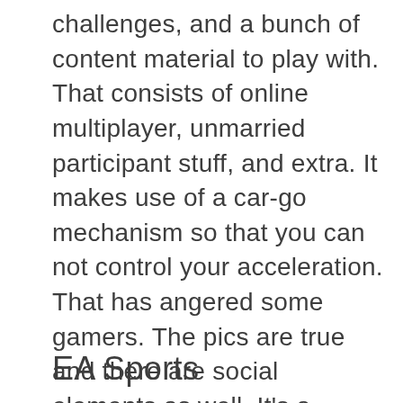challenges, and a bunch of content material to play with. That consists of online multiplayer, unmarried participant stuff, and extra. It makes use of a car-go mechanism so that you can not control your acceleration. That has angered some gamers. The pics are true and there are social elements as well. It's a freemium sport. Thus, the online aggressive component can be skewed a bit. However, the single participant stuff is classically accurate arcade racing.
EA Sports